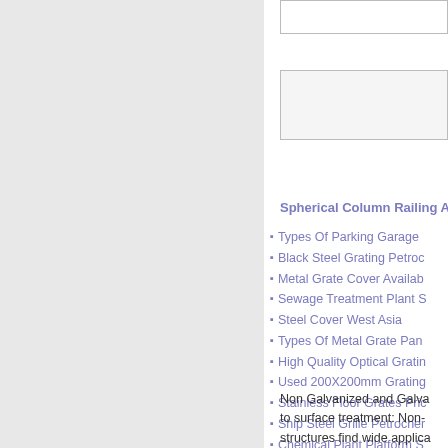[Figure (screenshot): Left gray panel of a webpage layout]
Spherical Column Railing A
Types Of Parking Garage
Black Steel Grating Petroc
Metal Grate Cover Availab
Sewage Treatment Plant S
Steel Cover West Asia
Types Of Metal Grate Pan
High Quality Optical Gratin
Used 200X200mm Grating
Stainless Floor Grates Pric
Ship Steel Grille Petrocher
Chemical Plant Platform S
Non Galvanized and Galva to surface treatment: Non- structures find wide applica the advantages of econom